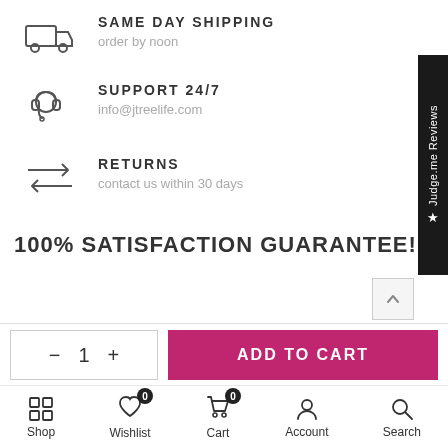[Figure (infographic): Truck/shipping icon with text: SAME DAY SHIPPING, order by noon]
SAME DAY SHIPPING
order by noon
[Figure (infographic): Headset/support icon with text: SUPPORT 24/7, info@jtreelife.com]
SUPPORT 24/7
info@jtreelife.com
[Figure (infographic): Returns arrows icon with text: RETURNS, contact us within 30 days]
RETURNS
contact us within 30 days
100% SATISFACTION GUARANTEE!
- 1 + ADD TO CART
Shop  Wishlist 0  Cart 0  Account  Search